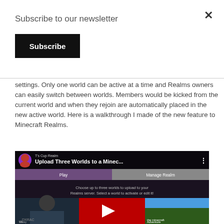Subscribe to our newsletter
Subscribe
settings. Only one world can be active at a time and Realms owners can easily switch between worlds. Members would be kicked from the current world and when they rejoin are automatically placed in the new active world. Here is a walkthrough I made of the new feature to Minecraft Realms.
[Figure (screenshot): YouTube video thumbnail showing 'Upload Three Worlds to a Minec...' with a person making a peace sign, Minecraft Realms interface, and a red play button overlay.]